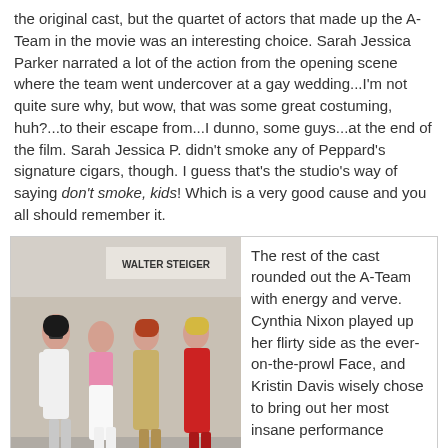the original cast, but the quartet of actors that made up the A-Team in the movie was an interesting choice. Sarah Jessica Parker narrated a lot of the action from the opening scene where the team went undercover at a gay wedding...I'm not quite sure why, but wow, that was some great costuming, huh?...to their escape from...I dunno, some guys...at the end of the film. Sarah Jessica P. didn't smoke any of Peppard's signature cigars, though. I guess that's the studio's way of saying don't smoke, kids! Which is a very good cause and you all should remember it.
[Figure (photo): Four women walking together on a city street in front of a Walter Steiger store. The woman on the left wears a white dress and sunglasses, the second wears a pink jacket with white pants, the third wears a gold/tan outfit, and the fourth wears a red outfit.]
The rest of the cast rounded out the A-Team with energy and verve. Cynthia Nixon played up her flirty side as the ever-on-the-prowl Face, and Kristin Davis wisely chose to bring out her most insane performance